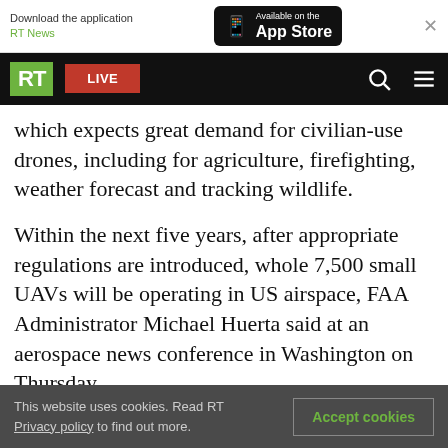Download the application RT News | Available on the App Store
[Figure (screenshot): RT website navigation bar with green RT logo, red LIVE button, search icon, and hamburger menu icon on black background]
which expects great demand for civilian-use drones, including for agriculture, firefighting, weather forecast and tracking wildlife.
Within the next five years, after appropriate regulations are introduced, whole 7,500 small UAVs will be operating in US airspace, FAA Administrator Michael Huerta said at an aerospace news conference in Washington on Thursday.
Huerta outlined the ultimate goal of the American
This website uses cookies. Read RT Privacy policy to find out more.